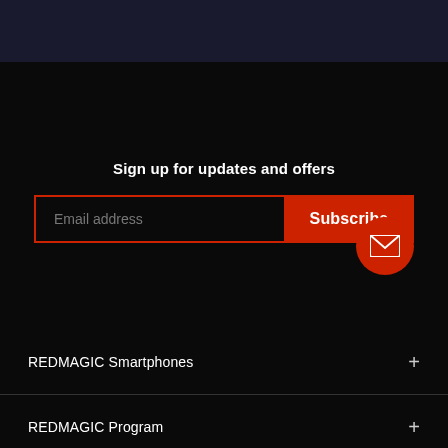Sign up for updates and offers
Email address
Subscribe
REDMAGIC Smartphones
REDMAGIC Program
Partnership